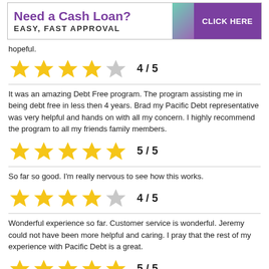[Figure (other): Advertisement banner: 'Need a Cash Loan? EASY, FAST APPROVAL' with a purple 'CLICK HERE' button and teal/purple diagonal stripe]
hopeful.
[Figure (other): 4 out of 5 stars rating with label '4 / 5']
It was an amazing Debt Free program. The program assisting me in being debt free in less then 4 years. Brad my Pacific Debt representative was very helpful and hands on with all my concern. I highly recommend the program to all my friends family members.
[Figure (other): 5 out of 5 stars rating with label '5 / 5']
So far so good. I'm really nervous to see how this works.
[Figure (other): 4 out of 5 stars rating with label '4 / 5']
Wonderful experience so far. Customer service is wonderful. Jeremy could not have been more helpful and caring. I pray that the rest of my experience with Pacific Debt is a great.
[Figure (other): 5 out of 5 stars rating with label '5 / 5']